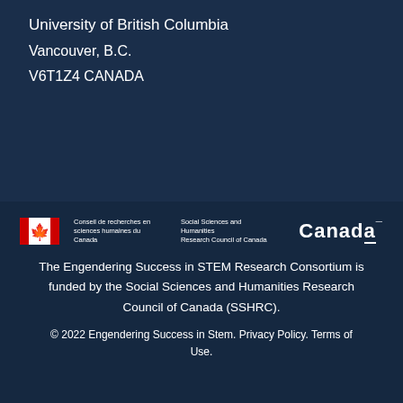University of British Columbia
Vancouver, B.C.
V6T1Z4 CANADA
[Figure (logo): SSHRC logo with Canadian flag icon, French and English text 'Conseil de recherches en sciences humaines du Canada / Social Sciences and Humanities Research Council of Canada', and Canada wordmark]
The Engendering Success in STEM Research Consortium is funded by the Social Sciences and Humanities Research Council of Canada (SSHRC).
© 2022 Engendering Success in Stem. Privacy Policy. Terms of Use.